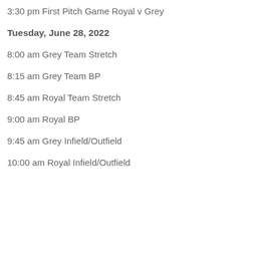3:30 pm First Pitch Game Royal v Grey
Tuesday, June 28, 2022
8:00 am Grey Team Stretch
8:15 am Grey Team BP
8:45 am Royal Team Stretch
9:00 am Royal BP
9:45 am Grey Infield/Outfield
10:00 am Royal Infield/Outfield